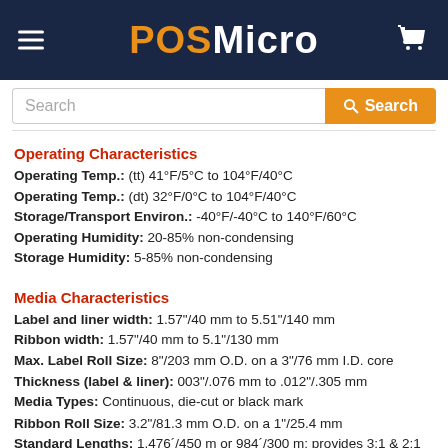POSMicro
Operating Characteristics
Operating Temp.: (tt) 41°F/5°C to 104°F/40°C
Operating Temp.: (dt) 32°F/0°C to 104°F/40°C
Storage/Transport Environ.: -40°F/-40°C to 140°F/60°C
Operating Humidity: 20-85% non-condensing
Storage Humidity: 5-85% non-condensing
Media Characteristics
Label and liner width: 1.57"/40 mm to 5.51"/140 mm
Ribbon width: 1.57"/40 mm to 5.1"/130 mm
Max. Label Roll Size: 8"/203 mm O.D. on a 3"/76 mm I.D. core
Thickness (label & liner): 003"/.076 mm to .012"/.305 mm
Media Types: Continuous, die-cut or black mark
Ribbon Roll Size: 3.2"/81.3 mm O.D. on a 1"/25.4 mm
Standard Lengths: 1,476´/450 m or 984´/300 m; provides 3:1 & 2:1 media roll to ribbon ratios